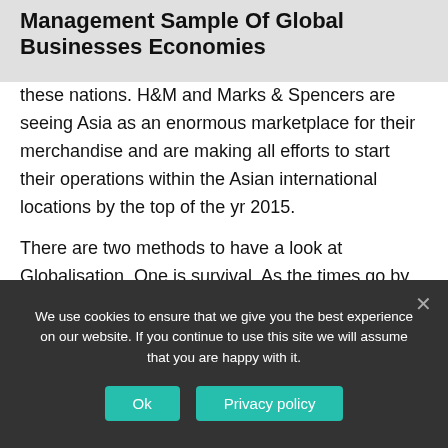Management Sample Of Global Businesses Economies
these nations. H&M and Marks & Spencers are seeing Asia as an enormous marketplace for their merchandise and are making all efforts to start their operations within the Asian international locations by the top of the yr 2015.
There are two methods to have a look at Globalisation. One is survival. As the times go by, competitors is continually growing. Larger manufacturers overpower small manufacturers. It turns into crucial for corporations to take care of money flows and present income of their financials yr after yr. Failure to take action usually ends in
We use cookies to ensure that we give you the best experience on our website. If you continue to use this site we will assume that you are happy with it.
Ok
Privacy policy